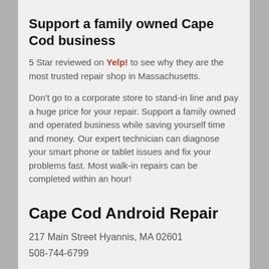Support a family owned Cape Cod business
5 Star reviewed on Yelp! to see why they are the most trusted repair shop in Massachusetts.
Don't go to a corporate store to stand-in line and pay a huge price for your repair. Support a family owned and operated business while saving yourself time and money. Our expert technician can diagnose your smart phone or tablet issues and fix your problems fast. Most walk-in repairs can be completed within an hour!
Cape Cod Android Repair
217 Main Street Hyannis, MA 02601
508-744-6799
Parking is available on Main Street and the area across the street circled on the map.
If you can't find parking just pull into loading area in front and call 508-744-6799. I will pick up from curb.